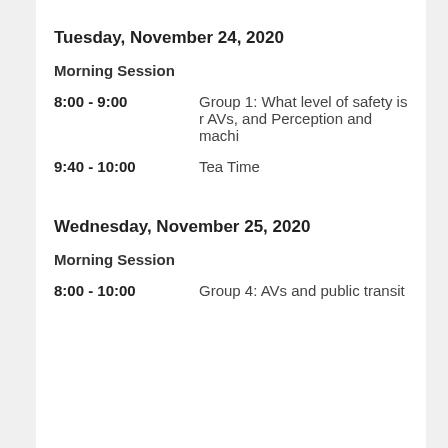Tuesday, November 24, 2020
Morning Session
8:00 - 9:00	Group 1: What level of safety is r AVs, and Perception and machi
9:40 - 10:00	Tea Time
Wednesday, November 25, 2020
Morning Session
8:00 - 10:00	Group 4: AVs and public transit